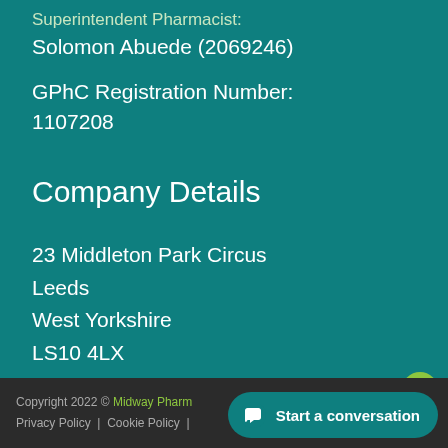Superintendent Pharmacist:
Solomon Abuede (2069246)
GPhC Registration Number:
1107208
Company Details
23 Middleton Park Circus
Leeds
West Yorkshire
LS10 4LX
Copyright 2022 © Midway Pharm | Privacy Policy | Cookie Policy |